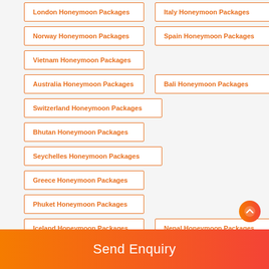London Honeymoon Packages
Italy Honeymoon Packages
Norway Honeymoon Packages
Spain Honeymoon Packages
Vietnam Honeymoon Packages
Australia Honeymoon Packages
Bali Honeymoon Packages
Switzerland Honeymoon Packages
Bhutan Honeymoon Packages
Seychelles Honeymoon Packages
Greece Honeymoon Packages
Phuket Honeymoon Packages
Iceland Honeymoon Packages
Nepal Honeymoon Packages
Send Enquiry